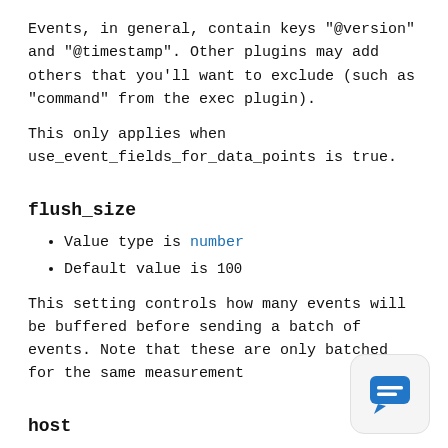Events, in general, contain keys "@version" and "@timestamp". Other plugins may add others that you'll want to exclude (such as "command" from the exec plugin).
This only applies when use_event_fields_for_data_points is true.
flush_size
Value type is number
Default value is 100
This setting controls how many events will be buffered before sending a batch of events. Note that these are only batched for the same measurement
host